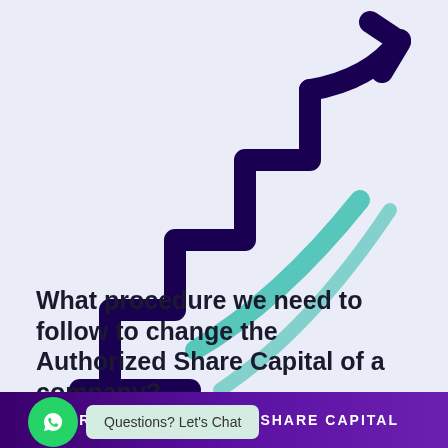[Figure (illustration): Stylized icon of a staircase/steps going upward with an arrow pointing up and to the right, rendered in dark purple/navy outlines with teal accent swoosh lines, on a light lavender background.]
What procedure we need to follow to change the Authorized Share Capital of a company?
...the authorized share capital of the company can be increased at any time, subject to the...
INCREASE AUTHORIZED SHARE CAPITAL